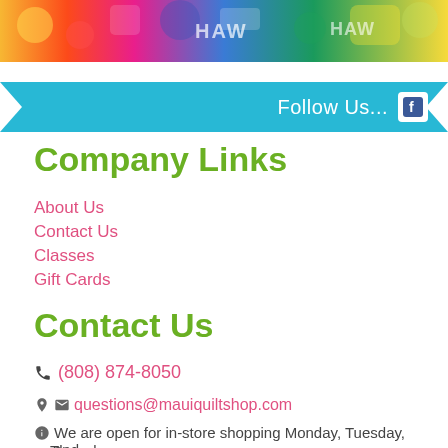[Figure (photo): Colorful Hawaiian fabric/quilt patterns banner image with tropical colors, birds, flowers, turtles, and 'HAW' text visible]
Follow Us... f
Company Links
About Us
Contact Us
Classes
Gift Cards
Contact Us
(808) 874-8050
questions@mauiquiltshop.com
We are open for in-store shopping Monday, Tuesday, and Thursday.